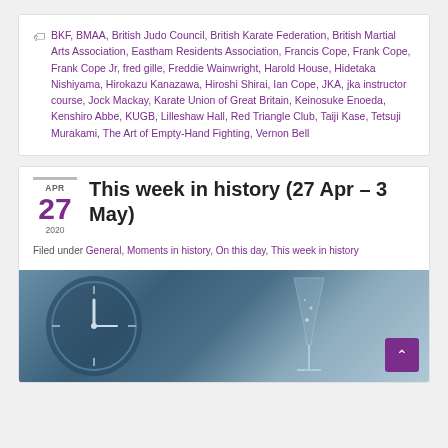BKF, BMAA, British Judo Council, British Karate Federation, British Martial Arts Association, Eastham Residents Association, Francis Cope, Frank Cope, Frank Cope Jr, fred gille, Freddie Wainwright, Harold House, Hidetaka Nishiyama, Hirokazu Kanazawa, Hiroshi Shirai, Ian Cope, JKA, jka instructor course, Jock Mackay, Karate Union of Great Britain, Keinosuke Enoeda, Kenshiro Abbe, KUGB, Lilleshaw Hall, Red Triangle Club, Taiji Kase, Tetsuji Murakami, The Art of Empty-Hand Fighting, Vernon Bell
This week in history (27 Apr – 3 May)
Filed under General, Moments in history, On this day, This week in history
[Figure (photo): Close-up photo of a clock and a glass with blurred blue-grey background]